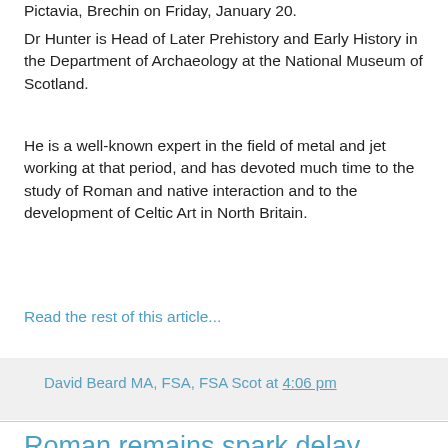Pictavia, Brechin on Friday, January 20.
Dr Hunter is Head of Later Prehistory and Early History in the Department of Archaeology at the National Museum of Scotland.
He is a well-known expert in the field of metal and jet working at that period, and has devoted much time to the study of Roman and native interaction and to the development of Celtic Art in North Britain.
Read the rest of this article...
David Beard MA, FSA, FSA Scot at 4:06 pm
Roman remains spark delay concerns over flood protection
DETAILED research is under way for a revised scheme to